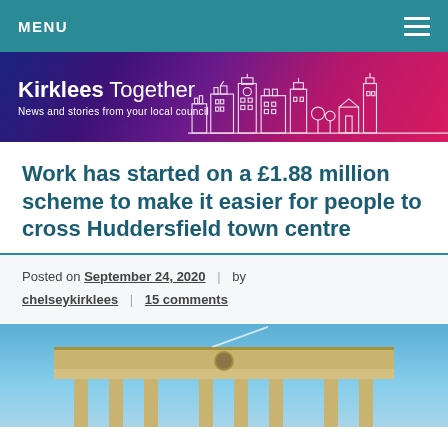MENU
[Figure (logo): Kirklees Together banner — 'News and stories from your local council' with white skyline illustration on purple/pink gradient]
Work has started on a £1.88 million scheme to make it easier for people to cross Huddersfield town centre
Posted on September 24, 2020 | by chelseykirklees | 15 comments
[Figure (photo): Photograph of a classical stone building with columns and a clock, photographed from below against a blue sky]